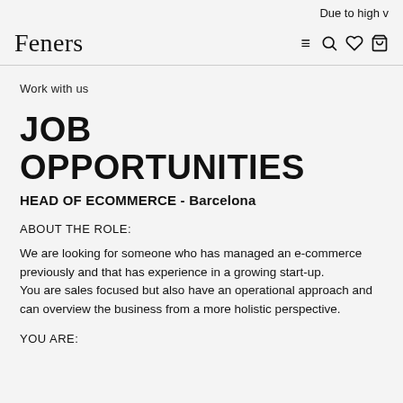Due to high v
Feners
Work with us
JOB OPPORTUNITIES
HEAD OF ECOMMERCE - Barcelona
ABOUT THE ROLE:
We are looking for someone who has managed an e-commerce previously and that has experience in a growing start-up. You are sales focused but also have an operational approach and can overview the business from a more holistic perspective.
YOU ARE: